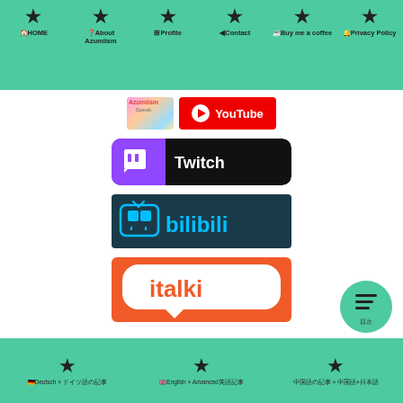HOME | About Azumiism | Profile | Contact | Buy me a coffee | Privacy Policy
[Figure (logo): Azumiism Speak YouTube channel logo thumbnail next to YouTube red play button logo]
[Figure (logo): Twitch logo banner - purple and black rounded rectangle with Twitch icon and white text Twitch]
[Figure (logo): Bilibili logo banner - dark teal background with bilibili TV mascot and blue bilibili text logo]
[Figure (logo): italki logo banner - red/coral background with white speech bubble shape and red italki text]
Deutsch × [Japanese] | English × Advanced[Japanese] | [Japanese] × [Japanese]